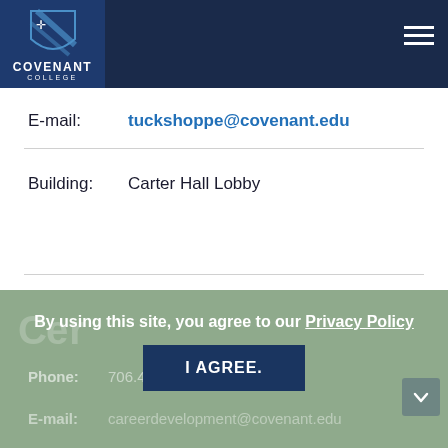[Figure (logo): Covenant College shield logo with white text on dark navy background, with hamburger menu icon on the right]
E-mail:    tuckshoppe@covenant.edu
Building:  Carter Hall Lobby
By using this site, you agree to our Privacy Policy
Phone:   706.419.1150
E-mail:   careerdevelopment@covenant.edu